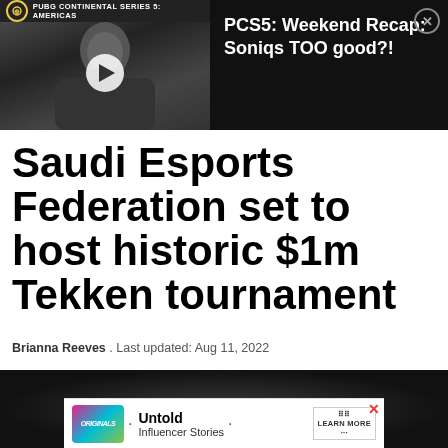[Figure (screenshot): Video thumbnail showing a person at a computer with PUBG Continental Series 5: Americas banner at top]
PCS5: Weekend Recap: Soniqs TOO good?!
Saudi Esports Federation set to host historic $1m Tekken tournament
Brianna Reeves . Last updated: Aug 11, 2022
[Figure (photo): Dark background image, partially visible, with an advertisement overlay for Untold Influencer Stories]
Untold Influencer Stories — LEARN MORE